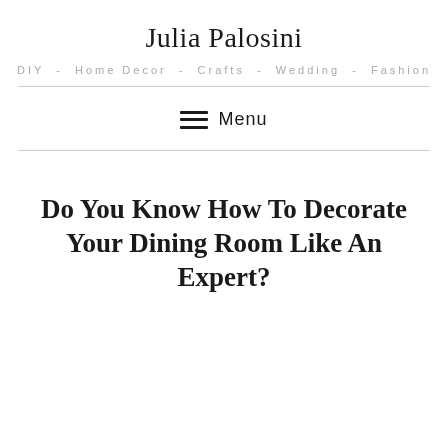Julia Palosini
DIY - Home Decor - Crafts - Wedding - Fashion
Menu
Do You Know How To Decorate Your Dining Room Like An Expert?